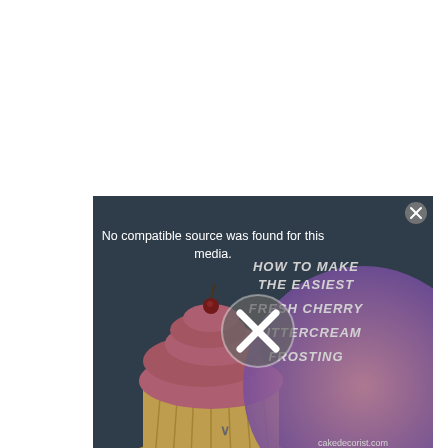[Figure (screenshot): A video player screenshot showing a cupcake with pink frosting on the left side, and on the right side a pink/purple bubble graphic with text 'HOW TO MAKE THE EASIEST FRESH CHERRY BUTTERCREAM FROSTING' and 'cakedecorist.com'. The player shows an error message 'No compatible source was found for this media.' with a circular X icon in the center. A close button (x) appears in the top-right corner of the player.]